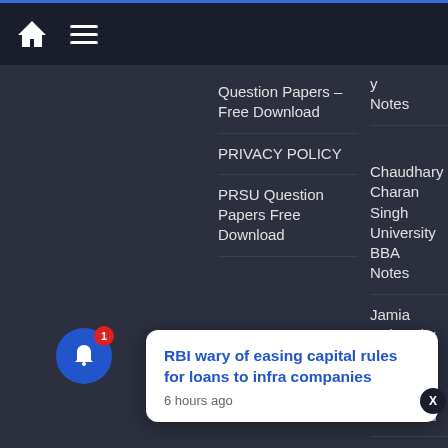Home | Menu navigation bar
Question Papers – Free Download
PRIVACY POLICY
PRSU Question Papers Free Download
Notes
Chaudhary Charan Singh University BBA Notes
Jamia University Question Papers – Free Download
Management Notes
Previews year question papers
RBI wary of easing capital rules for loans to infra companies
6 hours ago